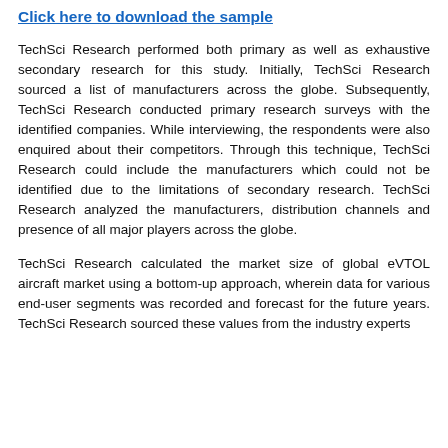Click here to download the sample
TechSci Research performed both primary as well as exhaustive secondary research for this study. Initially, TechSci Research sourced a list of manufacturers across the globe. Subsequently, TechSci Research conducted primary research surveys with the identified companies. While interviewing, the respondents were also enquired about their competitors. Through this technique, TechSci Research could include the manufacturers which could not be identified due to the limitations of secondary research. TechSci Research analyzed the manufacturers, distribution channels and presence of all major players across the globe.
TechSci Research calculated the market size of global eVTOL aircraft market using a bottom-up approach, wherein data for various end-user segments was recorded and forecast for the future years. TechSci Research sourced these values from the industry experts